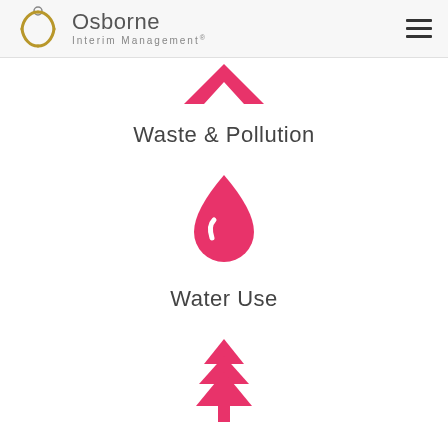Osborne Interim Management®
[Figure (illustration): Pink upward-pointing arrow / mountain chevron icon representing Waste & Pollution category]
Waste & Pollution
[Figure (illustration): Pink water drop icon representing Water Use category]
Water Use
[Figure (illustration): Pink pine/fir tree icon representing Land Use category]
Land Use